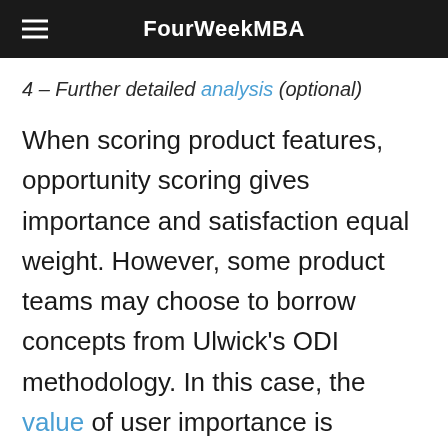FourWeekMBA
4 – Further detailed analysis (optional)
When scoring product features, opportunity scoring gives importance and satisfaction equal weight. However, some product teams may choose to borrow concepts from Ulwick's ODI methodology. In this case, the value of user importance is doubled in